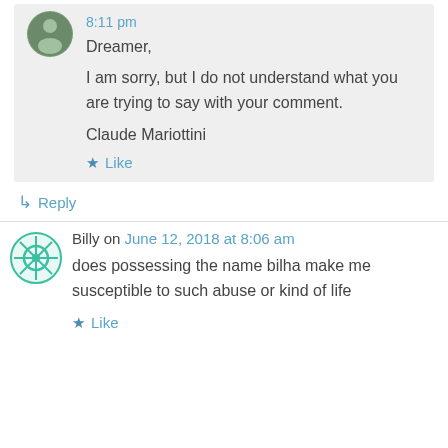8:11 pm
Dreamer,
I am sorry, but I do not understand what you are trying to say with your comment.
Claude Mariottini
Like
Reply
Billy on June 12, 2018 at 8:06 am
does possessing the name bilha make me susceptible to such abuse or kind of life
Like